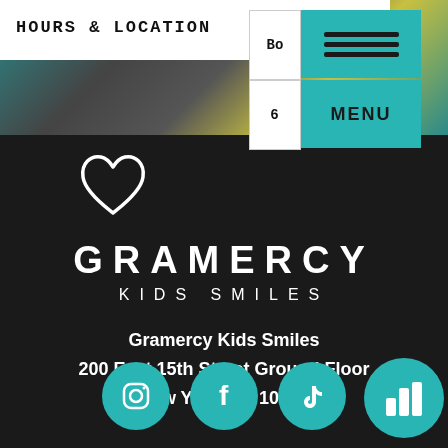HOURS & LOCATION
[Figure (screenshot): Website navigation overlay showing partial text 'Bo' and '6' with teal menu panel and hamburger icon, labeled MENU]
[Figure (logo): Gramercy Kids Smiles logo with white heart outline illustration above text GRAMERCY KIDS SMILES on dark background]
Gramercy Kids Smiles
200 East 15th Street Ground Floor
New York, NY 10003
[Figure (illustration): Social media icons: Instagram, Facebook, TikTok in teal circles, plus a teal circle with bar chart icon at bottom right]